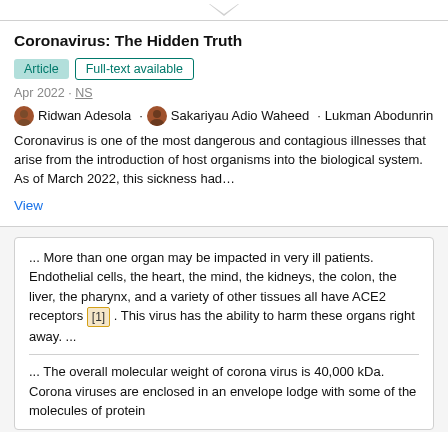Coronavirus: The Hidden Truth
Article   Full-text available
Apr 2022 · NS
Ridwan Adesola · Sakariyau Adio Waheed · Lukman Abodunrin
Coronavirus is one of the most dangerous and contagious illnesses that arise from the introduction of host organisms into the biological system. As of March 2022, this sickness had…
View
... More than one organ may be impacted in very ill patients. Endothelial cells, the heart, the mind, the kidneys, the colon, the liver, the pharynx, and a variety of other tissues all have ACE2 receptors [1] . This virus has the ability to harm these organs right away. ...
... The overall molecular weight of corona virus is 40,000 kDa. Corona viruses are enclosed in an envelope lodge with some of the molecules of protein